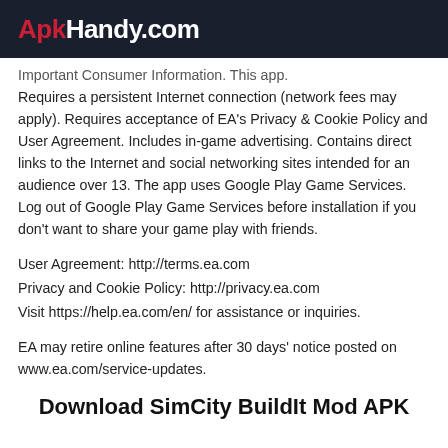Apk Handy.com
Important Consumer Information. This app. Requires a persistent Internet connection (network fees may apply). Requires acceptance of EA's Privacy & Cookie Policy and User Agreement. Includes in-game advertising. Contains direct links to the Internet and social networking sites intended for an audience over 13. The app uses Google Play Game Services. Log out of Google Play Game Services before installation if you don't want to share your game play with friends.
User Agreement: http://terms.ea.com
Privacy and Cookie Policy: http://privacy.ea.com
Visit https://help.ea.com/en/ for assistance or inquiries.
EA may retire online features after 30 days' notice posted on www.ea.com/service-updates.
Download SimCity BuildIt Mod APK